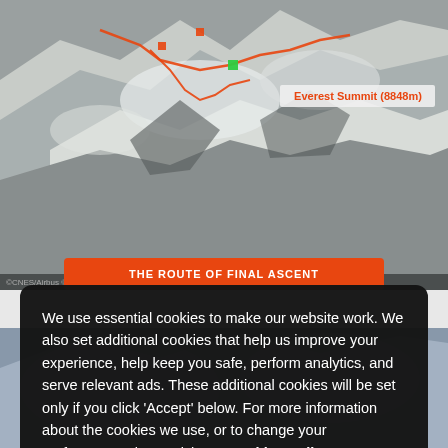[Figure (photo): Aerial satellite view of Everest summit area with route markings in orange/red, with a label 'Everest Summit (8848m)' in the upper right corner.]
THE ROUTE OF FINAL ASCENT
We use essential cookies to make our website work. We also set additional cookies that help us improve your experience, help keep you safe, perform analytics, and serve relevant ads. These additional cookies will be set only if you click 'Accept' below. For more information about the cookies we use, or to change your preferences, please visit our Cookies Policy.